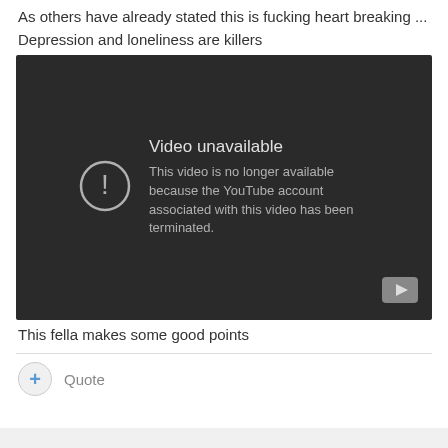As others have already stated this is fucking heart breaking ...
Depression and loneliness are killers
[Figure (screenshot): Embedded YouTube video player showing error: 'Video unavailable. This video is no longer available because the YouTube account associated with this video has been terminated.']
This fella makes some good points
+ Quote